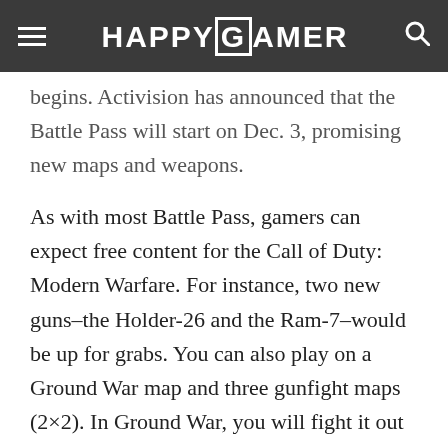HAPPYGAMER
begins. Activision has announced that the Battle Pass will start on Dec. 3, promising new maps and weapons.
As with most Battle Pass, gamers can expect free content for the Call of Duty: Modern Warfare. For instance, two new guns–the Holder-26 and the Ram-7–would be up for grabs. You can also play on a Ground War map and three gunfight maps (2×2). In Ground War, you will fight it out amid shipping crates, buildings, cranes, and wide and narrow streets.